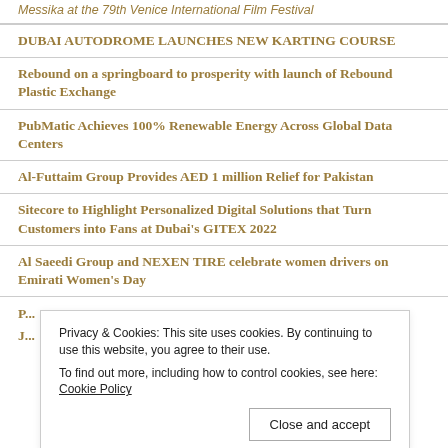Messika at the 79th Venice International Film Festival
DUBAI AUTODROME LAUNCHES NEW KARTING COURSE
Rebound on a springboard to prosperity with launch of Rebound Plastic Exchange
PubMatic Achieves 100% Renewable Energy Across Global Data Centers
Al-Futtaim Group Provides AED 1 million Relief for Pakistan
Sitecore to Highlight Personalized Digital Solutions that Turn Customers into Fans at Dubai's GITEX 2022
Al Saeedi Group and NEXEN TIRE celebrate women drivers on Emirati Women's Day
Privacy & Cookies: This site uses cookies. By continuing to use this website, you agree to their use. To find out more, including how to control cookies, see here: Cookie Policy
Close and accept